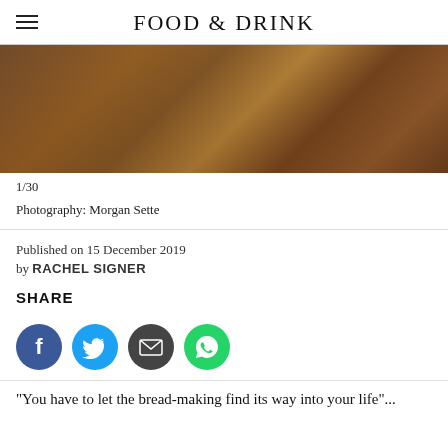FOOD & DRINK
[Figure (photo): Close-up photograph of artisan bread loaves on a wooden surface, warm brown tones]
1/30
Photography: Morgan Sette
Published on 15 December 2019
by RACHEL SIGNER
SHARE
[Figure (infographic): Social share buttons: Facebook (blue circle), Twitter (cyan circle), Email (dark grey circle), WhatsApp (green circle)]
“You have to let the bread-making find its way into your life”...